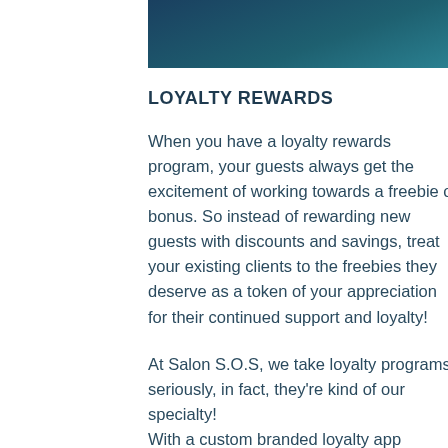[Figure (other): Dark teal/steel blue gradient header bar across the top of the page]
LOYALTY REWARDS
When you have a loyalty rewards program, your guests always get the excitement of working towards a freebie or bonus. So instead of rewarding new guests with discounts and savings, treat your existing clients to the freebies they deserve as a token of your appreciation for their continued support and loyalty!
At Salon S.O.S, we take loyalty programs seriously, in fact, they’re kind of our specialty!
With a custom branded loyalty app